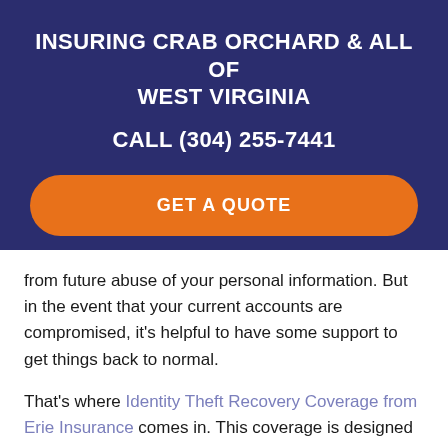INSURING CRAB ORCHARD & ALL OF WEST VIRGINIA
CALL (304) 255-7441
GET A QUOTE
from future abuse of your personal information. But in the event that your current accounts are compromised, it's helpful to have some support to get things back to normal.
That's where Identity Theft Recovery Coverage from Erie Insurance comes in. This coverage is designed to help you restore your credit in the event of identity